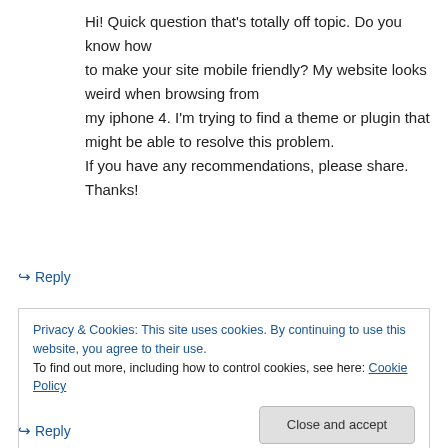Hi! Quick question that's totally off topic. Do you know how to make your site mobile friendly? My website looks weird when browsing from my iphone 4. I'm trying to find a theme or plugin that might be able to resolve this problem. If you have any recommendations, please share. Thanks!
↪ Reply
Privacy & Cookies: This site uses cookies. By continuing to use this website, you agree to their use. To find out more, including how to control cookies, see here: Cookie Policy
Close and accept
↪ Reply